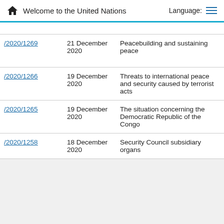Welcome to the United Nations  Language:
| Symbol | Date | Topic | Type |
| --- | --- | --- | --- |
| S/2020/1269 | 21 December 2020 | Peacebuilding and sustaining peace | Letter from the President of the Security Council |
| S/2020/1266 | 19 December 2020 | Threats to international peace and security caused by terrorist acts | Letter from the President of the Security Council |
| S/2020/1265 | 19 December 2020 | The situation concerning the Democratic Republic of the Congo | Letter from the President of the Security Council |
| S/2020/1258 | 18 December 2020 | Security Council subsidiary organs | Letter from the President of the Security Council |